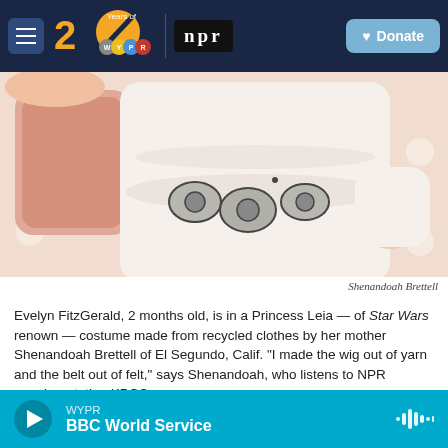WYPR 20 Years of WYPR | NPR | Donate
[Figure (photo): Baby dressed in white Princess Leia costume from Star Wars, lying on a pink polka-dot blanket with a belt made of felt pieces]
Shenandoah Brettell
Evelyn FitzGerald, 2 months old, is in a Princess Leia — of Star Wars renown — costume made from recycled clothes by her mother Shenandoah Brettell of El Segundo, Calif. "I made the wig out of yarn and the belt out of felt," says Shenandoah, who listens to NPR member station KPCC.
WYPR BBC World Service